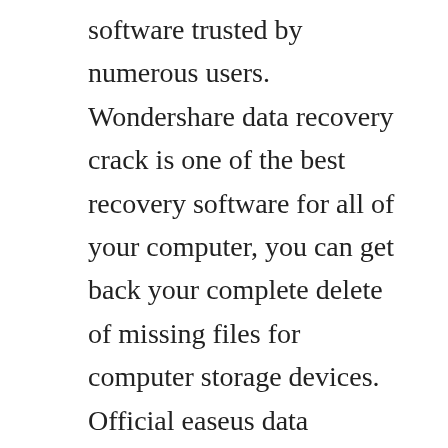software trusted by numerous users. Wondershare data recovery crack is one of the best recovery software for all of your computer, you can get back your complete delete of missing files for computer storage devices. Official easeus data recovery wizard crack, serial key. Better and safer way for memory card recovery would be using freeware icare recovery free edition which is a 100% free memory card recovery program that could do the same job as cardrecovery for recovering files from your digital media card. It recovers all format of data like images,